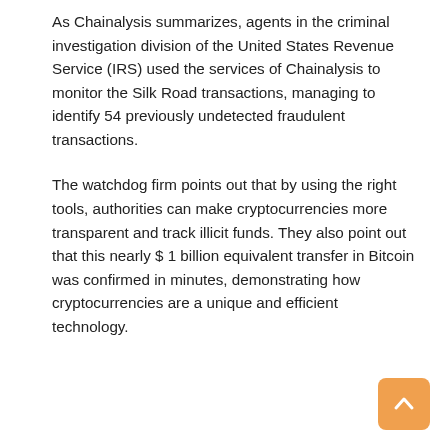As Chainalysis summarizes, agents in the criminal investigation division of the United States Revenue Service (IRS) used the services of Chainalysis to monitor the Silk Road transactions, managing to identify 54 previously undetected fraudulent transactions.
The watchdog firm points out that by using the right tools, authorities can make cryptocurrencies more transparent and track illicit funds. They also point out that this nearly $ 1 billion equivalent transfer in Bitcoin was confirmed in minutes, demonstrating how cryptocurrencies are a unique and efficient technology.